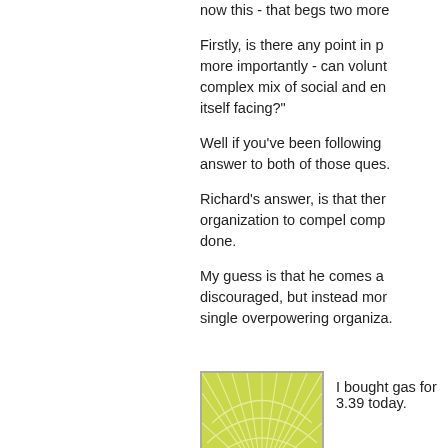now this - that begs two more
Firstly, is there any point in p... more importantly - can volunt... complex mix of social and en... itself facing?"
Well if you've been following ... answer to both of those ques...
Richard's answer, is that ther... organization to compel comp... done.
My guess is that he comes a... discouraged, but instead mor... single overpowering organiza...
[Figure (illustration): Green geometric starburst/sunburst pattern avatar icon with light green radiating lines on green background]
I bought gas for 3.39 today.
[Figure (illustration): Dark green swirling concentric circles pattern avatar icon]
narciso-